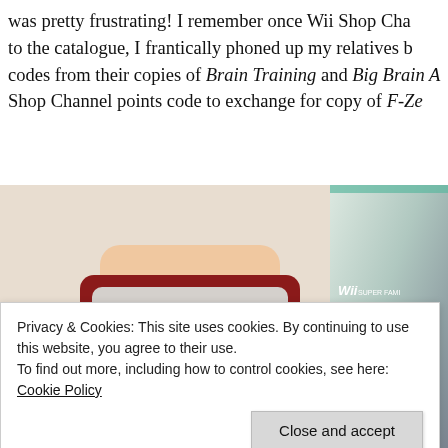was pretty frustrating! I remember once Wii Shop Cha... to the catalogue, I frantically phoned up my relatives b... codes from their copies of Brain Training and Big Brain A... Shop Channel points code to exchange for copy of F-Ze...
[Figure (photo): A hand holding a red and silver Game & Watch handheld device showing the BALL game, with a Wii Super Famicom Classic Controller box partially visible on the right]
Privacy & Cookies: This site uses cookies. By continuing to use this website, you agree to their use.
To find out more, including how to control cookies, see here: Cookie Policy
Close and accept